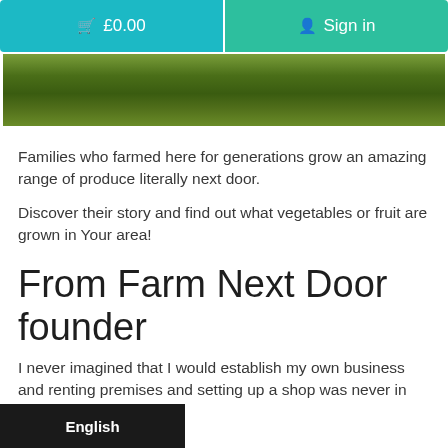🛒 £0.00   Sign in
[Figure (photo): Close-up photo of green grass or field, used as a hero image banner]
Families who farmed here for generations grow an amazing range of produce literally next door.
Discover their story and find out what vegetables or fruit are grown in Your area!
From Farm Next Door founder
I never imagined that I would establish my own business and renting premises and setting up a shop was never in my plans.
English